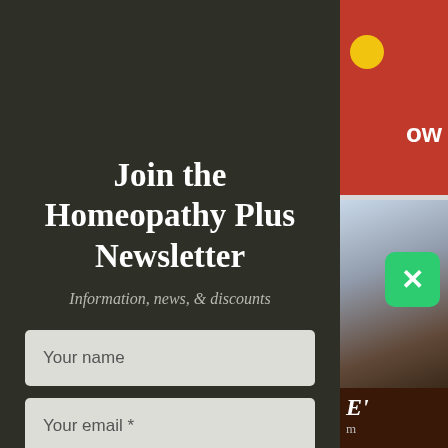Join the Homeopathy Plus Newsletter
Information, news, & discounts
Your name
Your email *